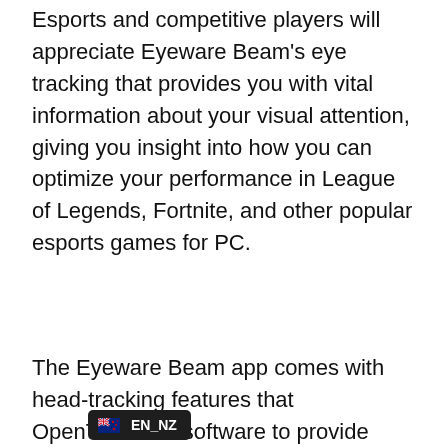Esports and competitive players will appreciate Eyeware Beam's eye tracking that provides you with vital information about your visual attention, giving you insight into how you can optimize your performance in League of Legends, Fortnite, and other popular esports games for PC.
The Eyeware Beam app comes with head-tracking features that [works] with OpenTrack PC software to provide head trac[king output] in PC games. With the mobile app's 6
[Figure (screenshot): A dark overlay badge/tooltip showing a New Zealand flag emoji followed by the text 'EN_NZ', appearing as a language/locale selector UI element.]